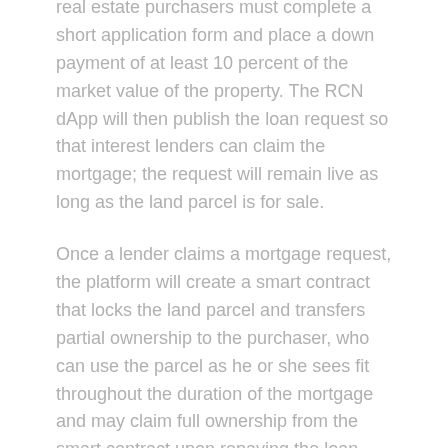real estate purchasers must complete a short application form and place a down payment of at least 10 percent of the market value of the property. The RCN dApp will then publish the loan request so that interest lenders can claim the mortgage; the request will remain live as long as the land parcel is for sale.
Once a lender claims a mortgage request, the platform will create a smart contract that locks the land parcel and transfers partial ownership to the purchaser, who can use the parcel as he or she sees fit throughout the duration of the mortgage and may claim full ownership from the smart contract upon repaying the loan. Borrowers can even establish an RCN credit rating by consistently paying off their mortgages on time, likely enabling them to receive more favorable interest rates in the future.
However, if the borrower fails to pay off the mortgage within seven days following its expiration date, the lender